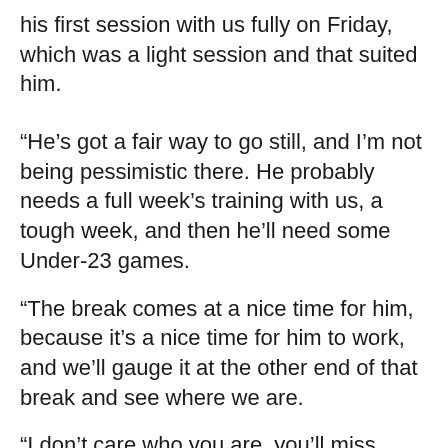his first session with us fully on Friday, which was a light session and that suited him.
“He’s got a fair way to go still, and I’m not being pessimistic there. He probably needs a full week’s training with us, a tough week, and then he’ll need some Under-23 games.
“The break comes at a nice time for him, because it’s a nice time for him to work, and we’ll gauge it at the other end of that break and see where we are.
“I don’t care who you are, you’ll miss Ruben and his abilities, his natural physique, ability to travel with the ball, move it well, the goals he started to